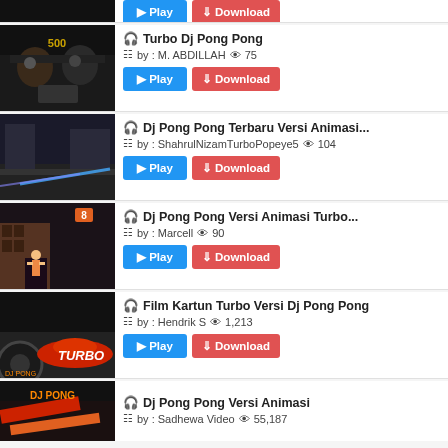Turbo Dj Pong Pong | by: M. ABDILLAH | views: 75
Dj Pong Pong Terbaru Versi Animasi... | by: ShahrulNizamTurboPopeye5 | views: 104
Dj Pong Pong Versi Animasi Turbo... | by: Marcell | views: 90
Film Kartun Turbo Versi Dj Pong Pong | by: Hendrik S | views: 1,213
Dj Pong Pong Versi Animasi | by: Sadhewa Video | views: 55,187